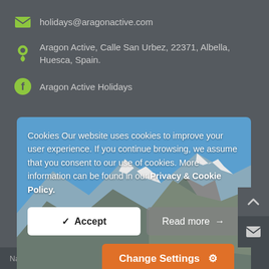holidays@aragonactive.com
Aragon Active, Calle San Urbez, 22371, Albella, Huesca, Spain.
Aragon Active Holidays
[Figure (screenshot): Cookie consent modal overlay on top of a mountain landscape photo showing Pyrenees mountains with green meadows and cattle grazing. The modal contains cookie notice text and three buttons: Accept, Read more, and Change Settings.]
Natural Parks   Terms & Conditions